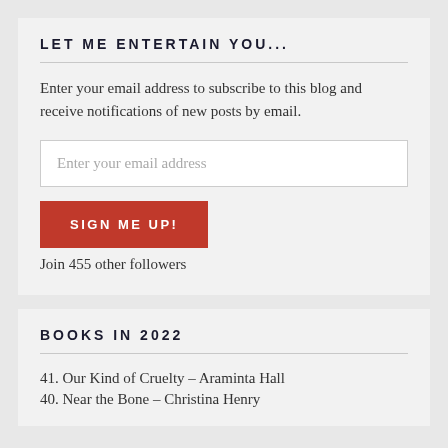LET ME ENTERTAIN YOU...
Enter your email address to subscribe to this blog and receive notifications of new posts by email.
Enter your email address
SIGN ME UP!
Join 455 other followers
BOOKS IN 2022
41. Our Kind of Cruelty – Araminta Hall
40. Near the Bone – Christina Henry